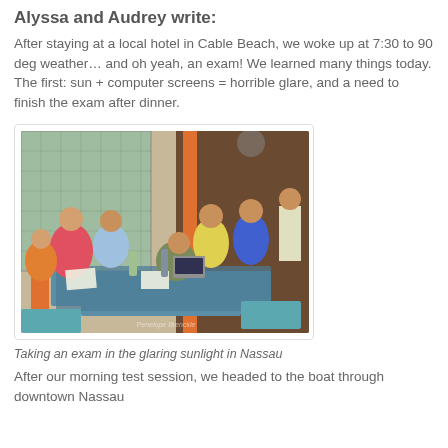Alyssa and Audrey write:
After staying at a local hotel in Cable Beach, we woke up at 7:30 to 90 deg weather… and oh yeah, an exam! We learned many things today. The first: sun + computer screens = horrible glare, and a need to finish the exam after dinner.
[Figure (photo): Group of students seated around tables taking an exam in an open-air venue in Nassau with orange and grey decor]
Taking an exam in the glaring sunlight in Nassau
After our morning test session, we headed to the boat through downtown Nassau